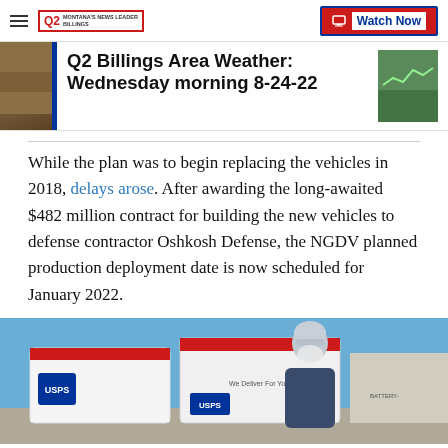Q2 Montana's News Leader Billings | Watch Now
Q2 Billings Area Weather: Wednesday morning 8-24-22
While the plan was to begin replacing the vehicles in 2018, delays arose. After awarding the long-awaited $482 million contract for building the new vehicles to defense contractor Oshkosh Defense, the NGDV planned production deployment date is now scheduled for January 2022.
[Figure (photo): A USPS mail carrier wearing a white face mask and gray winter hat stands in front of USPS mail trucks on a clear blue-sky day.]